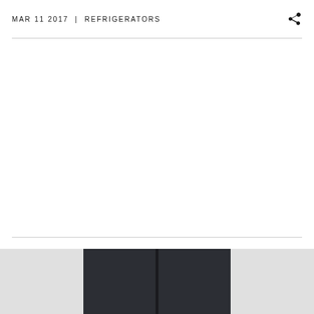MAR 11 2017  |  REFRIGERATORS
[Figure (photo): Photo of a dark-colored refrigerator with two doors, shown from the front against a light gray background. Only the top portion of the refrigerator is visible at the bottom of the page.]